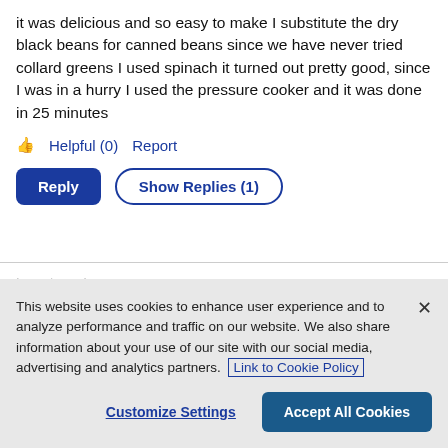it was delicious and so easy to make I substitute the dry black beans for canned beans since we have never tried collard greens I used spinach it turned out pretty good, since I was in a hurry I used the pressure cooker and it was done in 25 minutes
👍 Helpful (0)   Report
Reply   Show Replies (1)
This website uses cookies to enhance user experience and to analyze performance and traffic on our website. We also share information about your use of our site with our social media, advertising and analytics partners. Link to Cookie Policy
Customize Settings   Accept All Cookies